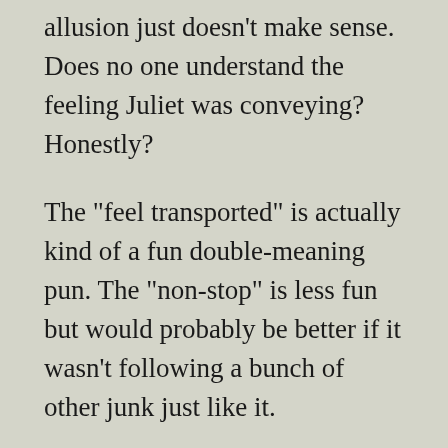allusion just doesn't make sense. Does no one understand the feeling Juliet was conveying? Honestly?
The "feel transported" is actually kind of a fun double-meaning pun. The "non-stop" is less fun but would probably be better if it wasn't following a bunch of other junk just like it.
I suppose you could say that the MTA has really done a noble job in making a dull message a little more fun. No doubt. The point is that really understanding even this fairly simple message is not so easy. What if your NLP doesn't have the NYC...